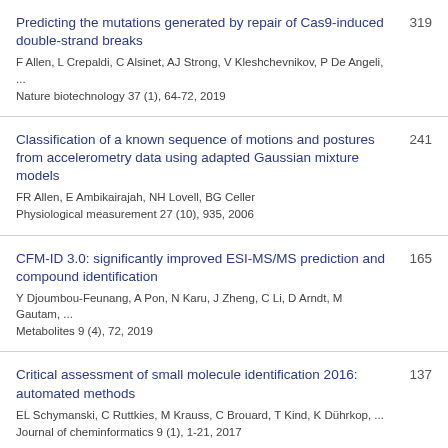Predicting the mutations generated by repair of Cas9-induced double-strand breaks
F Allen, L Crepaldi, C Alsinet, AJ Strong, V Kleshchevnikov, P De Angeli, ...
Nature biotechnology 37 (1), 64-72, 2019
319
Classification of a known sequence of motions and postures from accelerometry data using adapted Gaussian mixture models
FR Allen, E Ambikairajah, NH Lovell, BG Celler
Physiological measurement 27 (10), 935, 2006
241
CFM-ID 3.0: significantly improved ESI-MS/MS prediction and compound identification
Y Djoumbou-Feunang, A Pon, N Karu, J Zheng, C Li, D Arndt, M Gautam, ...
Metabolites 9 (4), 72, 2019
165
Critical assessment of small molecule identification 2016: automated methods
EL Schymanski, C Ruttkies, M Krauss, C Brouard, T Kind, K Dührkop, ...
Journal of cheminformatics 9 (1), 1-21, 2017
137